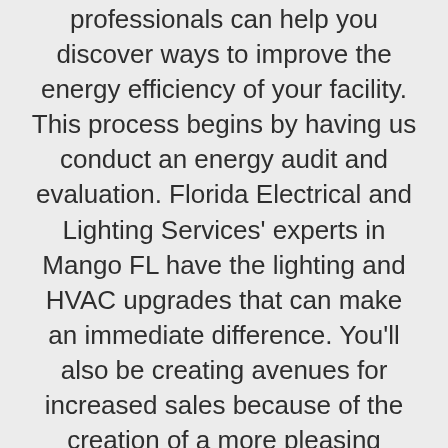professionals can help you discover ways to improve the energy efficiency of your facility. This process begins by having us conduct an energy audit and evaluation. Florida Electrical and Lighting Services' experts in Mango FL have the lighting and HVAC upgrades that can make an immediate difference. You'll also be creating avenues for increased sales because of the creation of a more pleasing shopping and working environment.
Florida Electrical and Lighting Maintenance Services has commercial energy evaluation services for the